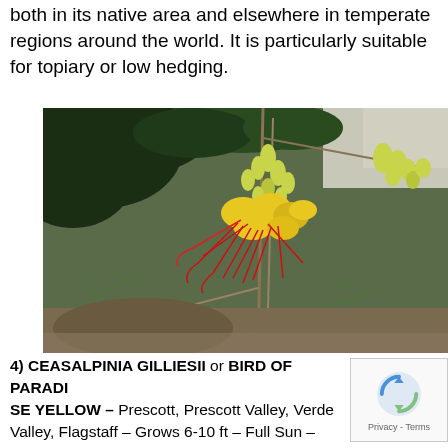both in its native area and elsewhere in temperate regions around the world. It is particularly suitable for topiary or low hedging.
[Figure (photo): Close-up photograph of Ceasalpinia Gilliesii (Bird of Paradise Yellow) plant showing yellow flowers with long red stamens and fine feathery green foliage against a dark leafy background.]
4) CEASALPINIA GILLIESII or BIRD OF PARADISE YELLOW – Prescott, Prescott Valley, Verde Valley, Flagstaff – Grows 6-10 ft – Full Sun – Deciduous